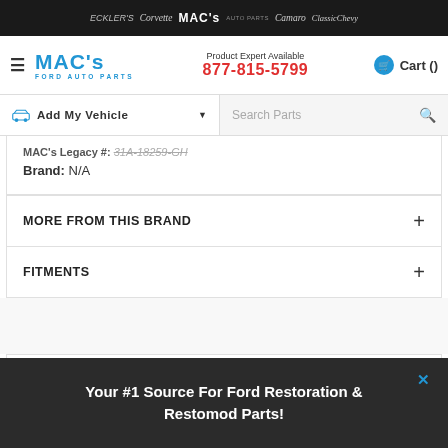ECKLER'S | Corvette | MAC's AUTO PARTS | Camaro | ClassicChevy
[Figure (logo): MAC's Ford Auto Parts logo]
Product Expert Available 877-815-5799
Cart ()
Add My Vehicle
Search Parts
MAC's Legacy #: 31A-18259-GH
Brand: N/A
MORE FROM THIS BRAND
FITMENTS
Your #1 Source For Ford Restoration & Restomod Parts!